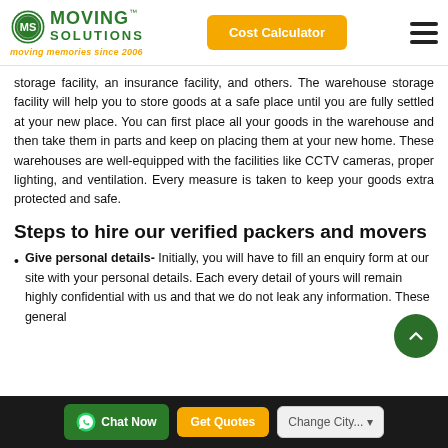Moving Solutions - moving memories since 2006 | Cost Calculator
storage facility, an insurance facility, and others. The warehouse storage facility will help you to store goods at a safe place until you are fully settled at your new place. You can first place all your goods in the warehouse and then take them in parts and keep on placing them at your new home. These warehouses are well-equipped with the facilities like CCTV cameras, proper lighting, and ventilation. Every measure is taken to keep your goods extra protected and safe.
Steps to hire our verified packers and movers
Give personal details- Initially, you will have to fill an enquiry form at our site with your personal details. Each every detail of yours will remain highly confidential with us and that we do not leak any information. These general
Chat Now | Get Quotes | Change City...